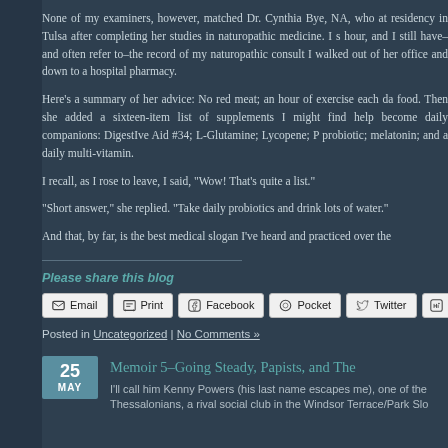None of my examiners, however, matched Dr. Cynthia Bye, NA, who at residency in Tulsa after completing her studies in naturopathic medicine. I s hour, and I still have–and often refer to–the record of my naturopathic consul I walked out of her office and down to a hospital pharmacy.
Here's a summary of her advice: No red meat; an hour of exercise each da food. Then she added a sixteen-item list of supplements I might find help become daily companions: DigestIve Aid #34; L-Glutamine; Lycopene; P probiotic; melatonin; and a daily multi-vitamin.
I recall, as I rose to leave, I said, "Wow! That's quite a list."
“Short answer,” she replied. “Take daily probiotics and drink lots of water.”
And that, by far, is the best medical slogan I've heard and practiced over the
Please share this blog
Email | Print | Facebook | Pocket | Twitter | Li
Posted in Uncategorized | No Comments »
Memoir 5–Going Steady, Papists, and The
I'll call him Kenny Powers (his last name escapes me), one of the Thessalonians, a rival social club in the Windsor Terrace/Park Slo